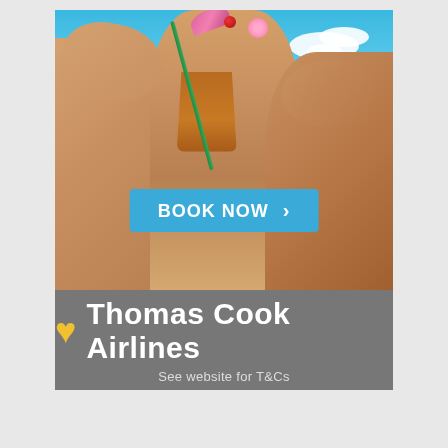[Figure (photo): Advertisement for Thomas Cook Airlines showing a person at a tropical beach holding a cocktail drink with a pink umbrella garnish, turquoise sea and blue sky in background. A blue 'BOOK NOW >' button is overlaid in the center-bottom of the photo.]
Thomas Cook Airlines
See website for T&Cs